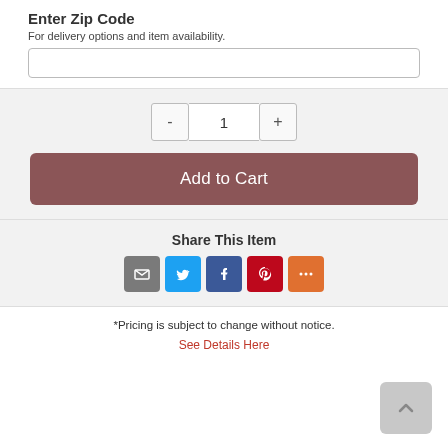Enter Zip Code
For delivery options and item availability.
1
Add to Cart
Share This Item
[Figure (other): Social sharing icons: Email, Twitter, Facebook, Pinterest, More]
*Pricing is subject to change without notice.
See Details Here